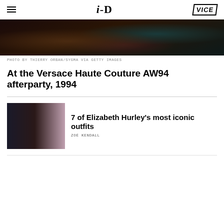i-D | VICE
[Figure (photo): Dark fashion event photo showing people in evening wear at a party, cropped to show lower bodies and accessories]
PHOTO BY THIERRY ORBAN/SYGMA VIA GETTY IMAGES
At the Versace Haute Couture AW94 afterparty, 1994
[Figure (photo): Two photos of Elizabeth Hurley side by side: left shows her in a black Versace safety-pin dress, right shows her in a silver/pink satin gown]
7 of Elizabeth Hurley's most iconic outfits
ZOÉ KENDALL